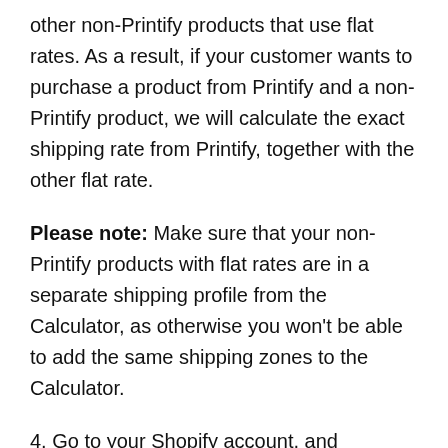you to use the Printify Shipping Calculator with other non-Printify products that use flat rates. As a result, if your customer wants to purchase a product from Printify and a non-Printify product, we will calculate the exact shipping rate from Printify, together with the other flat rate.
Please note: Make sure that your non-Printify products with flat rates are in a separate shipping profile from the Calculator, as otherwise you won't be able to add the same shipping zones to the Calculator.
4. Go to your Shopify account, and navigate to "Shipping and delivery". Next to "General shipping